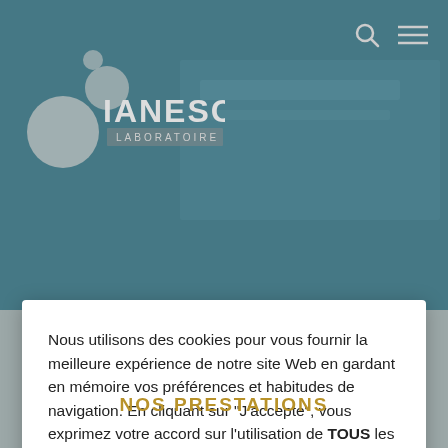[Figure (screenshot): IANESCO Laboratoire website header with teal background, laboratory interior photo visible, logo with circles on the left and text IANESCO LABORATOIRE, search and hamburger menu icons top right]
Nous utilisons des cookies pour vous fournir la meilleure expérience de notre site Web en gardant en mémoire vos préférences et habitudes de navigation. En cliquant sur "J'accepte", vous exprimez votre accord sur l'utilisation de TOUS les cookies.
Réglages des cookies
J'accepte
NOS PRESTATIONS